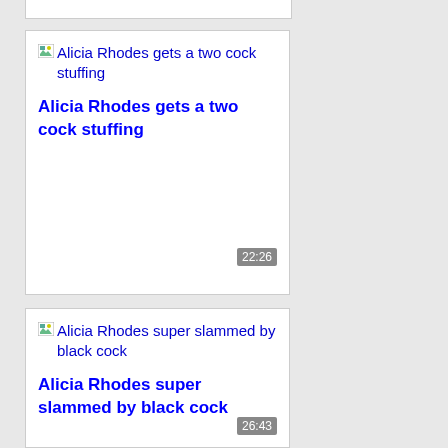[Figure (screenshot): Partial white card at top of page, cut off]
Alicia Rhodes gets a two cock stuffing
Alicia Rhodes gets a two cock stuffing
22:26
Alicia Rhodes super slammed by black cock
Alicia Rhodes super slammed by black cock
26:43